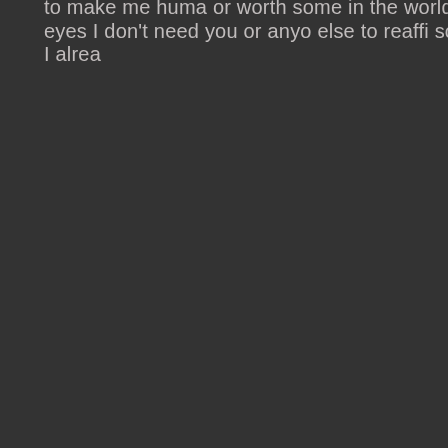to make me human or worth something in the world eyes I don't need you or anyone else to reaffirm something I already